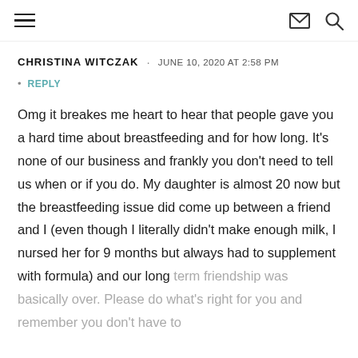≡  ✉ 🔍
CHRISTINA WITCZAK · JUNE 10, 2020 AT 2:58 PM
• REPLY
Omg it breakes me heart to hear that people gave you a hard time about breastfeeding and for how long. It's none of our business and frankly you don't need to tell us when or if you do. My daughter is almost 20 now but the breastfeeding issue did come up between a friend and I (even though I literally didn't make enough milk, I nursed her for 9 months but always had to supplement with formula) and our long term friendship was basically over. Please do what's right for you and remember you don't have to